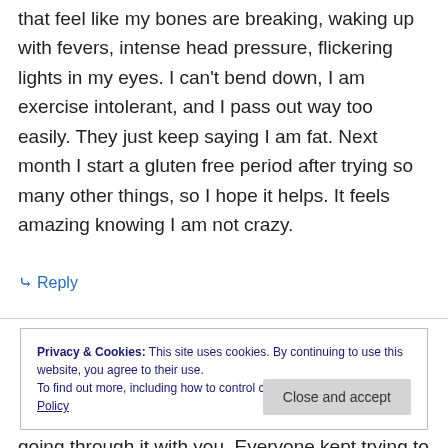that feel like my bones are breaking, waking up with fevers, intense head pressure, flickering lights in my eyes. I can't bend down, I am exercise intolerant, and I pass out way too easily. They just keep saying I am fat. Next month I start a gluten free period after trying so many other things, so I hope it helps. It feels amazing knowing I am not crazy.
↳ Reply
Privacy & Cookies: This site uses cookies. By continuing to use this website, you agree to their use. To find out more, including how to control cookies, see here: Cookie Policy
going through it with you. Everyone kept trying to